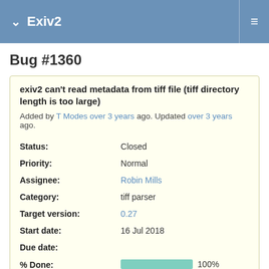Exiv2
Bug #1360
exiv2 can't read metadata from tiff file (tiff directory length is too large)
Added by T Modes over 3 years ago. Updated over 3 years ago.
| Field | Value |
| --- | --- |
| Status: | Closed |
| Priority: | Normal |
| Assignee: | Robin Mills |
| Category: | tiff parser |
| Target version: | 0.27 |
| Start date: | 16 Jul 2018 |
| Due date: |  |
| % Done: | 100% |
| Estimated time: | 1.00 h |